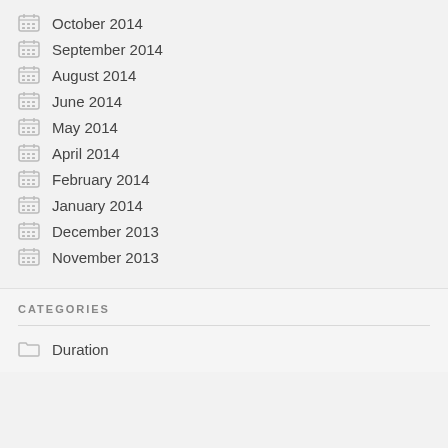October 2014
September 2014
August 2014
June 2014
May 2014
April 2014
February 2014
January 2014
December 2013
November 2013
CATEGORIES
Duration